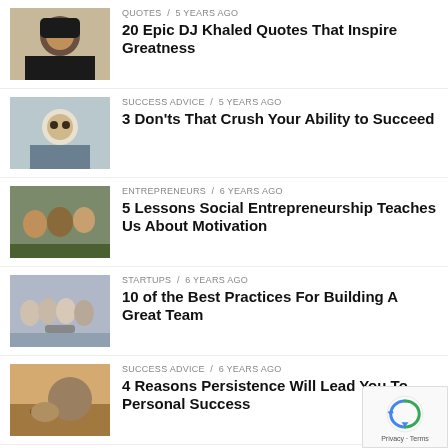QUOTES / 5 years ago — 20 Epic DJ Khaled Quotes That Inspire Greatness
SUCCESS ADVICE / 5 years ago — 3 Don'ts That Crush Your Ability to Succeed
ENTREPRENEURS / 6 years ago — 5 Lessons Social Entrepreneurship Teaches Us About Motivation
STARTUPS / 6 years ago — 10 of the Best Practices For Building A Great Team
SUCCESS ADVICE / 6 years ago — 4 Reasons Persistence Will Lead You To Personal Success
SUCCESS ADVICE / 11 years ago — 50 Sure-Fire Ways To Be A Humble And Respected Human Being
MORE POSTS